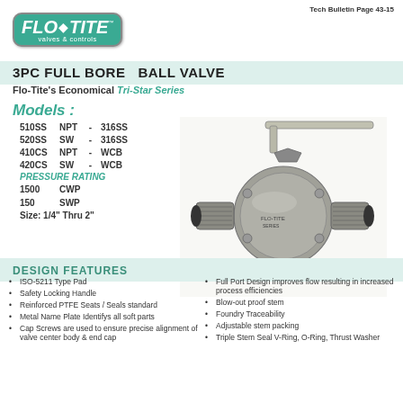Tech Bulletin Page 43-15
[Figure (logo): Flo-Tite valves & controls logo — teal rounded rectangle with white bold italic text]
3PC FULL BORE  BALL VALVE
Flo-Tite's Economical Tri-Star Series
Models :
510SS   NPT  -  316SS
520SS   SW   -  316SS
410CS   NPT  -  WCB
420CS   SW   -  WCB
PRESSURE RATING
1500   CWP
150    SWP
Size: 1/4" Thru 2"
[Figure (photo): 3-piece full bore ball valve, stainless steel body with threaded ends and lever handle]
DESIGN FEATURES
ISO-5211 Type Pad
Safety Locking Handle
Reinforced PTFE Seats / Seals standard
Metal Name Plate Identifys all soft parts
Cap Screws are used to ensure precise alignment of valve center body & end cap
Full Port Design improves flow resulting in increased process efficiencies
Blow-out proof stem
Foundry Traceability
Adjustable stem packing
Triple Stem Seal V-Ring, O-Ring, Thrust Washer